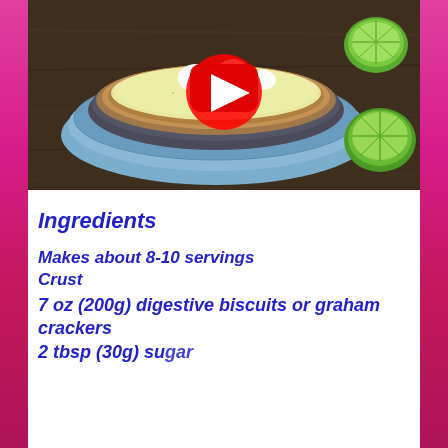[Figure (photo): Overhead view of a key lime pie with whipped cream rosettes on a blue decorative plate, with lime halves on a dark wood surface. A YouTube play button overlay is visible in the center.]
Ingredients
Makes about 8-10 servings
Crust
7 oz (200g) digestive biscuits or graham crackers
2 tbsp (30g) sugar